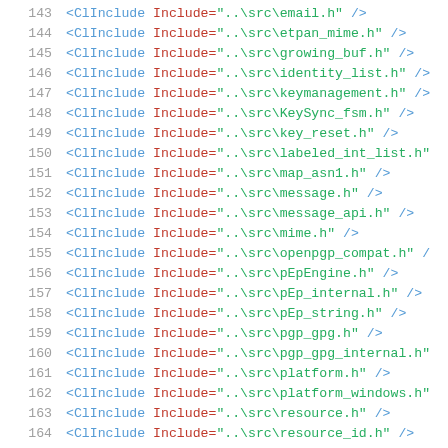143   <ClInclude Include="..\src\email.h" />
144   <ClInclude Include="..\src\etpan_mime.h" />
145   <ClInclude Include="..\src\growing_buf.h" />
146   <ClInclude Include="..\src\identity_list.h" />
147   <ClInclude Include="..\src\keymanagement.h" />
148   <ClInclude Include="..\src\KeySync_fsm.h" />
149   <ClInclude Include="..\src\key_reset.h" />
150   <ClInclude Include="..\src\labeled_int_list.h" />
151   <ClInclude Include="..\src\map_asn1.h" />
152   <ClInclude Include="..\src\message.h" />
153   <ClInclude Include="..\src\message_api.h" />
154   <ClInclude Include="..\src\mime.h" />
155   <ClInclude Include="..\src\openpgp_compat.h" />
156   <ClInclude Include="..\src\pEpEngine.h" />
157   <ClInclude Include="..\src\pEp_internal.h" />
158   <ClInclude Include="..\src\pEp_string.h" />
159   <ClInclude Include="..\src\pgp_gpg.h" />
160   <ClInclude Include="..\src\pgp_gpg_internal.h" />
161   <ClInclude Include="..\src\platform.h" />
162   <ClInclude Include="..\src\platform_windows.h" />
163   <ClInclude Include="..\src\resource.h" />
164   <ClInclude Include="..\src\resource_id.h" />
165   <ClInclude Include="..\src\..." />